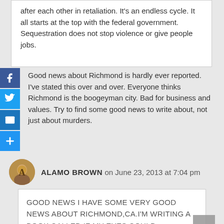after each other in retaliation. It's an endless cycle. It all starts at the top with the federal government. Sequestration does not stop violence or give people jobs.
[Figure (infographic): Social share buttons: Facebook (blue F), Twitter (blue bird), Email (blue envelope), Share (blue plus sign)]
Good news about Richmond is hardly ever reported. I've stated this over and over. Everyone thinks Richmond is the boogeyman city. Bad for business and values. Try to find some good news to write about, not just about murders.
ALAMO BROWN on June 23, 2013 at 7:04 pm
GOOD NEWS I HAVE SOME VERY GOOD NEWS ABOUT RICHMOND,CA.I'M WRITING A BOOK CALLED IF MY EYES COULD...